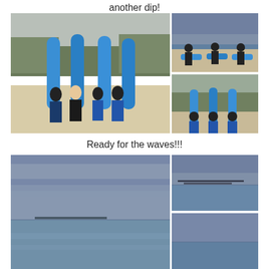another dip!
[Figure (photo): Group of students and instructor posing with blue surfboards on the beach, trees in background]
[Figure (photo): Three students standing on the beach with surfboards laid flat, overcast sky]
[Figure (photo): Three students in blue shirts standing with blue surfboards upright on sandy beach, trees in background]
Ready for the waves!!!
[Figure (photo): Wide ocean view with overcast sky and calm water, horizon visible]
[Figure (photo): Ocean view with pier or jetty in distance, overcast sky]
[Figure (photo): Partial ocean view, overcast conditions]